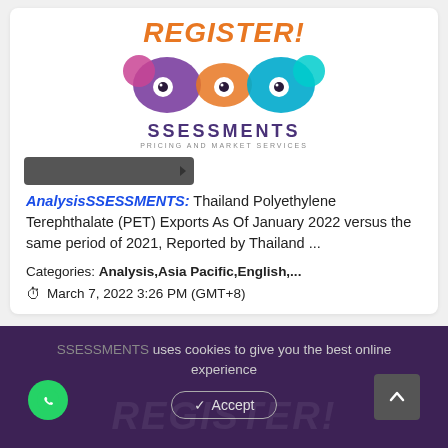REGISTER!
[Figure (logo): SSESSMENTS Pricing and Market Services logo — infinity-style loops in purple, pink, orange, and blue with eyes]
AnalysisSSESSMENTS: Thailand Polyethylene Terephthalate (PET) Exports As Of January 2022 versus the same period of 2021, Reported by Thailand ...
Categories: Analysis,Asia Pacific,English,...
March 7, 2022 3:26 PM (GMT+8)
SSESSMENTS uses cookies to give you the best online experience
Accept